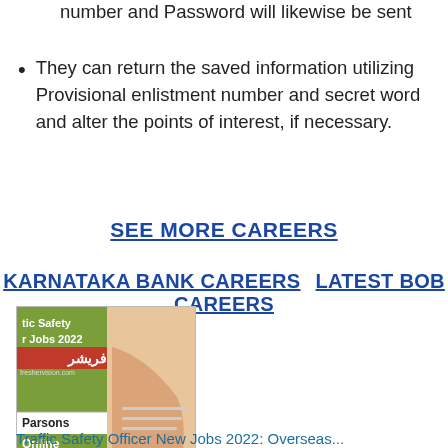number and Password will likewise be sent
They can return the saved information utilizing Provisional enlistment number and secret word and alter the points of interest, if necessary.
SEE MORE CAREERS
KARNATAKA BANK CAREERS   LATEST BOB CAREERS
[Figure (photo): Image showing Traffic Safety Officer Jobs 2022 with Parsons Online branding and a hand pointing at paper]
Traffic Safety Officer New Jobs 2022: Overseas...